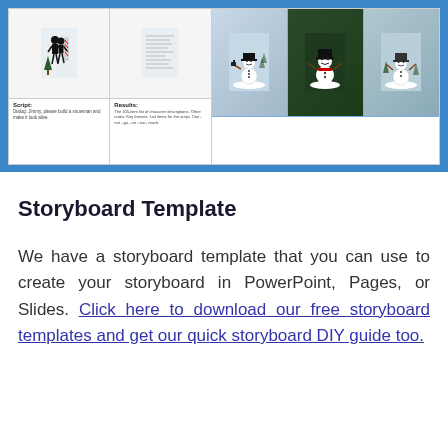[Figure (illustration): A storyboard template preview with a blue border showing two panels: left panel has silhouette figures in comic/storyboard cells with Script and Results text sections below; right panel shows three snowman photographs in a winter setting.]
Storyboard Template
We have a storyboard template that you can use to create your storyboard in PowerPoint, Pages, or Slides. Click here to download our free storyboard templates and get our quick storyboard DIY guide too.